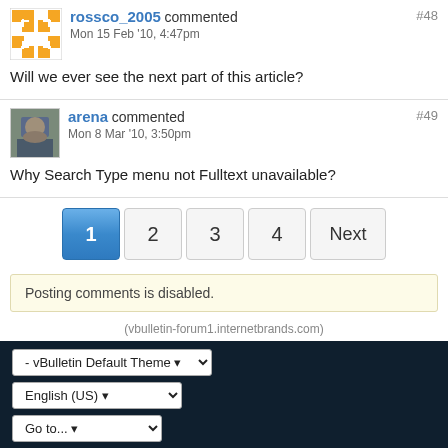rossco_2005 commented #48 Mon 15 Feb '10, 4:47pm
Will we ever see the next part of this article?
arena commented #49 Mon 8 Mar '10, 3:50pm
Why Search Type menu not Fulltext unavailable?
1 2 3 4 Next
Posting comments is disabled.
(vbulletin-forum1.internetbrands.com)
- vBulletin Default Theme
English (US)
Go to...
Do Not Sell My Personal Information
Powered by vBulletin® Version 5.6.9